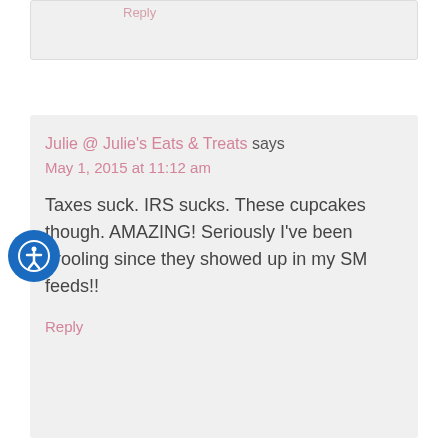Reply
Julie @ Julie's Eats & Treats says
May 1, 2015 at 11:12 am
Taxes suck. IRS sucks. These cupcakes though. AMAZING! Seriously I've been drooling since they showed up in my SM feeds!!
Reply